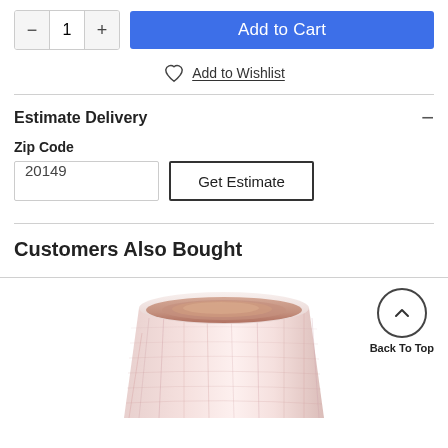1 Add to Cart
Add to Wishlist
Estimate Delivery
Zip Code
20149
Get Estimate
Customers Also Bought
[Figure (photo): Pink and white ceramic cup/planter with swirled texture pattern, viewed from above at an angle, showing the interior.]
Back To Top